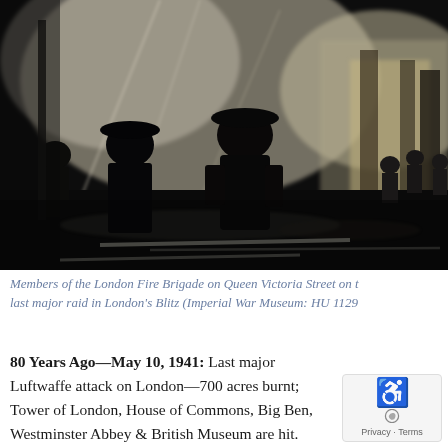[Figure (photo): Black and white photograph of members of the London Fire Brigade silhouetted against smoke and flames on Queen Victoria Street. Firefighters visible in foreground and background with hoses, wet street reflections visible.]
Members of the London Fire Brigade on Queen Victoria Street on the last major raid in London's Blitz (Imperial War Museum: HU 1129
80 Years Ago—May 10, 1941: Last major Luftwaffe attack on London—700 acres burnt; Tower of London, House of Commons, Big Ben, Westminster Abbey & British Museum are hit.